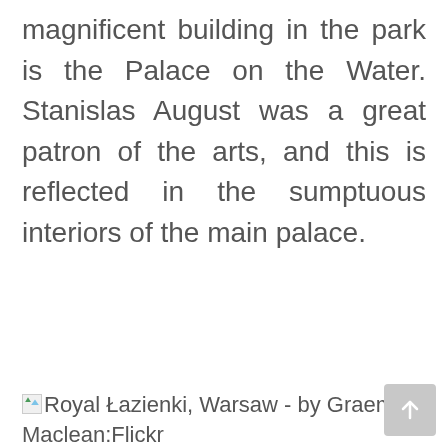magnificent building in the park is the Palace on the Water. Stanislas August was a great patron of the arts, and this is reflected in the sumptuous interiors of the main palace.
[Figure (photo): Broken image placeholder for Royal Łazienki, Warsaw - by Graeme Maclean:Flickr]
Royal Łazienki, Warsaw - by Graeme Maclean:Flickr